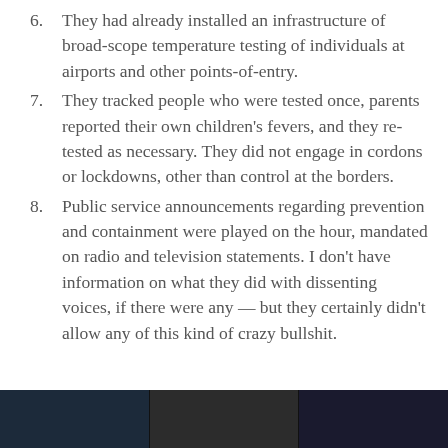6. They had already installed an infrastructure of broad-scope temperature testing of individuals at airports and other points-of-entry.
7. They tracked people who were tested once, parents reported their own children's fevers, and they re-tested as necessary. They did not engage in cordons or lockdowns, other than control at the borders.
8. Public service announcements regarding prevention and containment were played on the hour, mandated on radio and television statements. I don't have information on what they did with dissenting voices, if there were any — but they certainly didn't allow any of this kind of crazy bullshit.
[Figure (photo): Dark strip of three photo thumbnails at the bottom of the page]